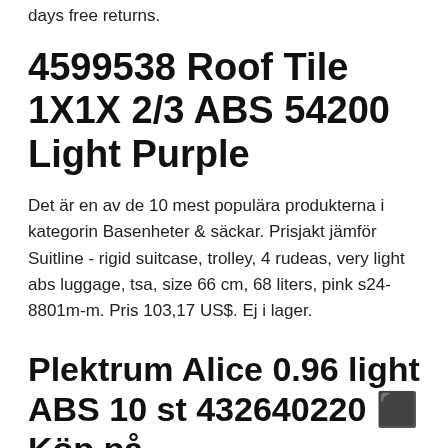days free returns.
4599538 Roof Tile 1X1X 2/3 ABS 54200 Light Purple
Det är en av de 10 mest populära produkterna i kategorin Basenheter & säckar. Prisjakt jämför Suitline - rigid suitcase, trolley, 4 rudeas, very light abs luggage, tsa, size 66 cm, 68 liters, pink s24-8801m-m. Pris 103,17 US$. Ej i lager.
Plektrum Alice 0.96 light ABS 10 st 432640220 ⬛ Köp på